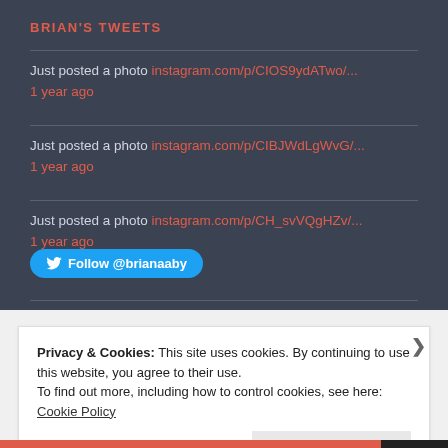BRIAN'S TWEETS
Just posted a photo instagram.com/p/CIOS9ydATwo/...
1 year ago
Just posted a photo instagram.com/p/CIBJWdLgWvG/...
1 year ago
Just posted a photo instagram.com/p/CH_svVQgHZv/...
1 year ago
Follow @brianaaby
Privacy & Cookies: This site uses cookies. By continuing to use this website, you agree to their use.
To find out more, including how to control cookies, see here: Cookie Policy
Close and accept